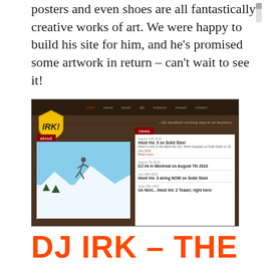posters and even shoes are all fantastically creative works of art. We were happy to build his site for him, and he's promised some artwork in return – can't wait to see it!
[Figure (screenshot): Screenshot of the DJ Irk website showing a dark wood-paneled background, the IRK! logo in yellow, navigation links in dark red, tagline '...the hardliest-working man in no-business.', an About section with a snowboarder photo, and a News section with several news items.]
DJ IRK – THE HARDIEST